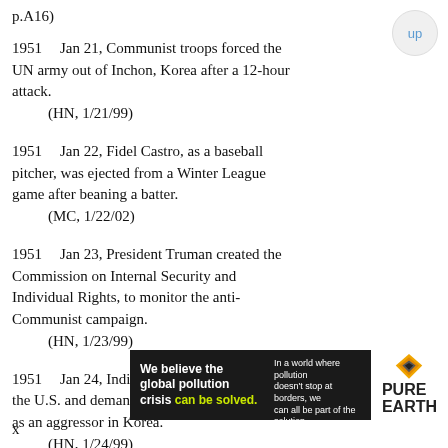(p.A16)
1951   Jan 21, Communist troops forced the UN army out of Inchon, Korea after a 12-hour attack.
    (HN, 1/21/99)
1951   Jan 22, Fidel Castro, as a baseball pitcher, was ejected from a Winter League game after beaning a batter.
    (MC, 1/22/02)
1951   Jan 23, President Truman created the Commission on Internal Security and Individual Rights, to monitor the anti-Communist campaign.
    (HN, 1/23/99)
1951   Jan 24, Indian leader Nehru assailed the U.S. and demanded the UN to name Peking as an aggressor in Korea.
    (HN, 1/24/99)
[Figure (other): Advertisement banner for Pure Earth: 'We believe the global pollution crisis can be solved. In a world where pollution doesn't stop at borders, we can all be part of the solution. JOIN US. PURE EARTH']